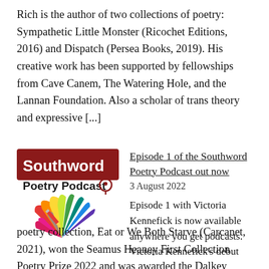Rich is the author of two collections of poetry: Sympathetic Little Monster (Ricochet Editions, 2016) and Dispatch (Persea Books, 2019). His creative work has been supported by fellowships from Cave Canem, The Watering Hole, and the Lannan Foundation. Also a scholar of trans theory and expressive [...]
[Figure (logo): Southword Poetry Podcast logo — dark red banner with white 'Southword' text, 'Poetry Podcast' with a location pin icon, and a colorful origami-bird/fan graphic below in rainbow colors with a pencil]
Episode 1 of the Southword Poetry Podcast out now
3 August 2022
Episode 1 with Victoria Kennefick is now available anywhere you get podcasts. Victoria Kennefick's debut poetry collection, Eat or We Both Starve (Carcanet, 2021), won the Seamus Heaney First Collection Poetry Prize 2022 and was awarded the Dalkey Book